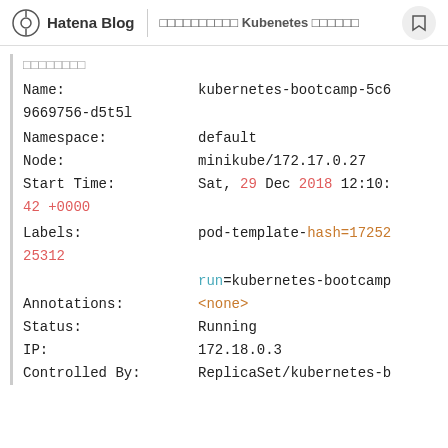Hatena Blog | oooooooooo Kubenetes oooooo
oooooooo
Name: kubernetes-bootcamp-5c69669756-d5t5l
Namespace: default
Node: minikube/172.17.0.27
Start Time: Sat, 29 Dec 2018 12:10:42 +0000
Labels: pod-template-hash=172522531
       run=kubernetes-bootcamp
Annotations: <none>
Status: Running
IP: 172.18.0.3
Controlled By: ReplicaSet/kubernetes-b